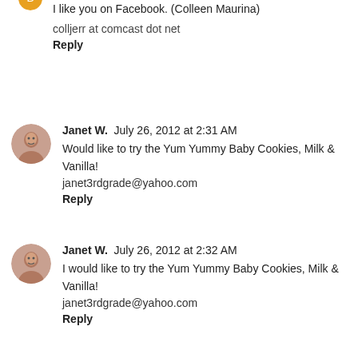I like you on Facebook. (Colleen Maurina)
colljerr at comcast dot net
Reply
Janet W.  July 26, 2012 at 2:31 AM
Would like to try the Yum Yummy Baby Cookies, Milk & Vanilla!
janet3rdgrade@yahoo.com
Reply
Janet W.  July 26, 2012 at 2:32 AM
I would like to try the Yum Yummy Baby Cookies, Milk & Vanilla!
janet3rdgrade@yahoo.com
Reply